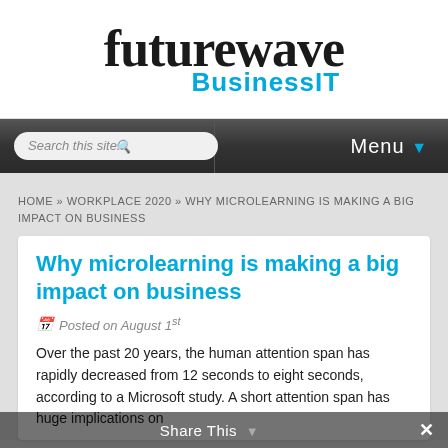[Figure (logo): Futurewave BusinessIT logo — 'futurewave' in large black serif font, 'BusinessIT' in cyan/blue bold sans-serif below]
[Figure (screenshot): Navigation bar with search box 'Search this site...' on left and 'Menu' with dropdown arrow on right, dark grey background]
HOME » WORKPLACE 2020 » WHY MICROLEARNING IS MAKING A BIG IMPACT ON BUSINESS
Why microlearning is making a big impact on business
Posted on August 1st
Over the past 20 years, the human attention span has rapidly decreased from 12 seconds to eight seconds, according to a Microsoft study. A short attention span has huge implications on
Share This